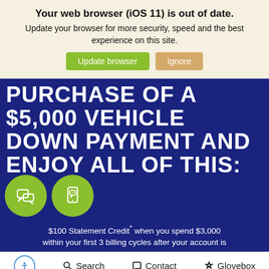Your web browser (iOS 11) is out of date. Update your browser for more security, speed and the best experience on this site.
Update browser | Ignore
PURCHASE OF A $5,000 VEHICLE DOWN PAYMENT AND ENJOY ALL OF THIS:
[Figure (illustration): Two green circular icons with chat/message symbols]
$100 Statement Credit* when you spend $3,000 within your first 3 billing cycles after your account is
Search | Contact | Glovebox